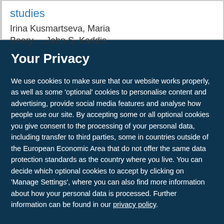studies
Irina Kusmartseva, Maria Beery ... John S. Kaddis
Your Privacy
We use cookies to make sure that our website works properly, as well as some 'optional' cookies to personalise content and advertising, provide social media features and analyse how people use our site. By accepting some or all optional cookies you give consent to the processing of your personal data, including transfer to third parties, some in countries outside of the European Economic Area that do not offer the same data protection standards as the country where you live. You can decide which optional cookies to accept by clicking on 'Manage Settings', where you can also find more information about how your personal data is processed. Further information can be found in our privacy policy.
Accept all cookies
Manage preferences